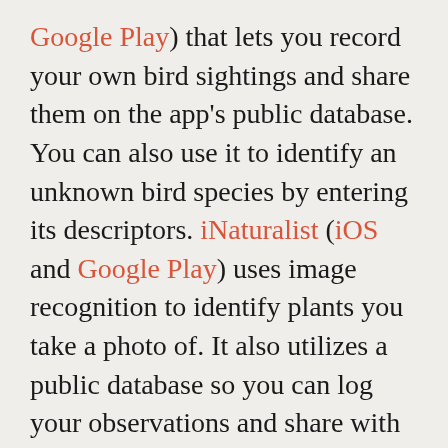Google Play) that lets you record your own bird sightings and share them on the app's public database. You can also use it to identify an unknown bird species by entering its descriptors. iNaturalist (iOS and Google Play) uses image recognition to identify plants you take a photo of. It also utilizes a public database so you can log your observations and share with the community.